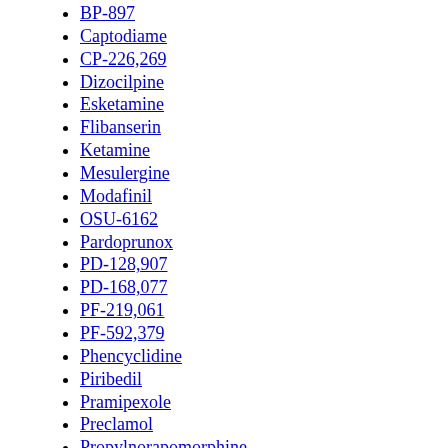BP-897
Captodiame
CP-226,269
Dizocilpine
Esketamine
Flibanserin
Ketamine
Mesulergine
Modafinil
OSU-6162
Pardoprunox
PD-128,907
PD-168,077
PF-219,061
PF-592,379
Phencyclidine
Piribedil
Pramipexole
Preclamol
Propylnorapomorphine
Pukateine
Quinagolide
Quinelorane
Quinpirole
RDS-127